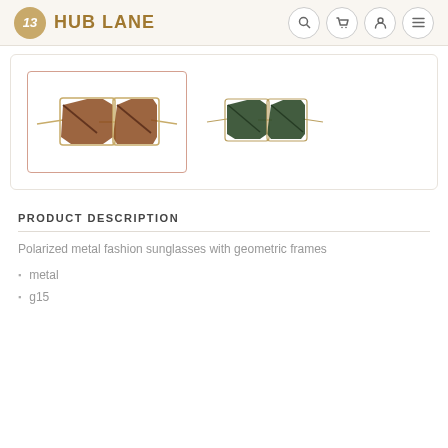HUB LANE
[Figure (photo): Two product thumbnail images of geometric metal sunglasses: first (selected/highlighted) shows brown-lens gold-frame hexagonal sunglasses; second shows dark green-lens gold-frame hexagonal sunglasses.]
PRODUCT DESCRIPTION
Polarized metal fashion sunglasses with geometric frames
metal
g15